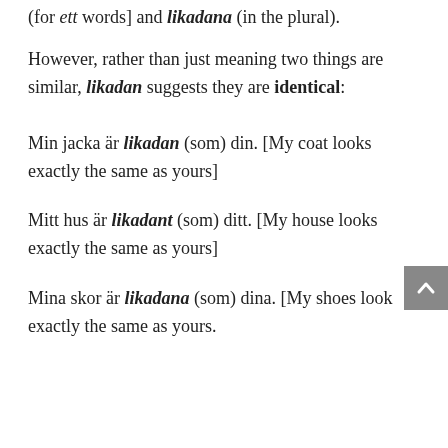(for ett words] and likadana (in the plural).
However, rather than just meaning two things are similar, likadan suggests they are identical:
Min jacka är likadan (som) din. [My coat looks exactly the same as yours]
Mitt hus är likadant (som) ditt. [My house looks exactly the same as yours]
Mina skor är likadana (som) dina. [My shoes look exactly the same as yours.